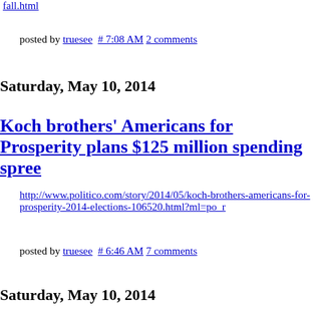fall.html
posted by truesee  # 7:08 AM  2 comments
Saturday, May 10, 2014
Koch brothers' Americans for Prosperity plans $125 million spending spree
http://www.politico.com/story/2014/05/koch-brothers-americans-for-prosperity-2014-elections-106520.html?ml=po_r
posted by truesee  # 6:46 AM  7 comments
Saturday, May 10, 2014